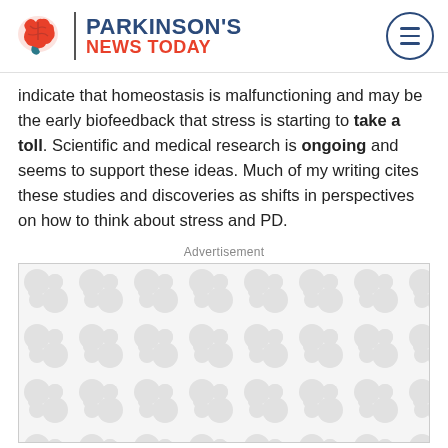PARKINSON'S NEWS TODAY
indicate that homeostasis is malfunctioning and may be the early biofeedback that stress is starting to take a toll. Scientific and medical research is ongoing and seems to support these ideas. Much of my writing cites these studies and discoveries as shifts in perspectives on how to think about stress and PD.
Advertisement
[Figure (other): Advertisement placeholder box with repeating organic blob/cell pattern in light grey on white background]